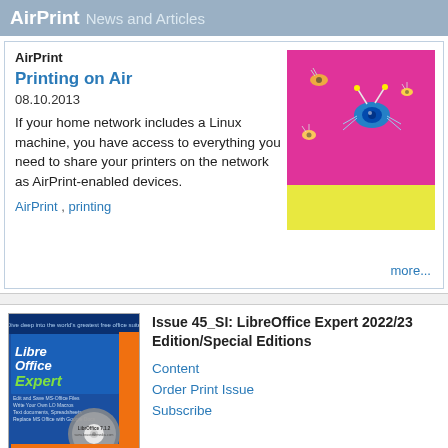AirPrint News and Articles
AirPrint
Printing on Air
08.10.2013
If your home network includes a Linux machine, you have access to everything you need to share your printers on the network as AirPrint-enabled devices.
AirPrint , printing
more...
[Figure (illustration): Pink and yellow thumbnail image with cartoon bug/eye illustrations]
[Figure (photo): LibreOffice Expert magazine cover with disc, Issue 45_SI 2022/23]
Issue 45_SI: LibreOffice Expert 2022/23 Edition/Special Editions
Content
Order Print Issue
Subscribe
Buy this issue as a PDF